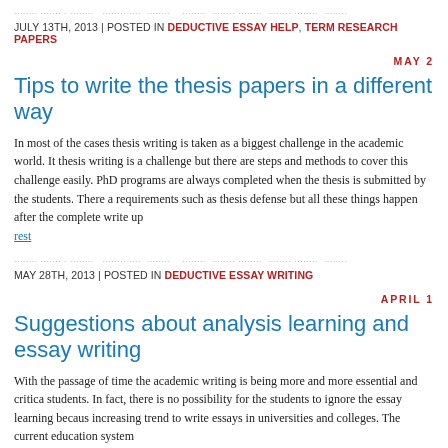........ .... ........ . ........ ........ .... ........ ........ .... ........ ........ ........ ........ ........ ........
JULY 13TH, 2013 | POSTED IN DEDUCTIVE ESSAY HELP, TERM RESEARCH PAPERS
MAY 2
Tips to write the thesis papers in a different way
In most of the cases thesis writing is taken as a biggest challenge in the academic world. It thesis writing is a challenge but there are steps and methods to cover this challenge easily. PhD programs are always completed when the thesis is submitted by the students. There a requirements such as thesis defense but all these things happen after the complete write up
rest
........ .... ........ ........ ........ ........ ........ ........ ........ ........ ........ ........ ........
MAY 28TH, 2013 | POSTED IN DEDUCTIVE ESSAY WRITING
APRIL 1
Suggestions about analysis learning and essay writing
With the passage of time the academic writing is being more and more essential and critica students. In fact, there is no possibility for the students to ignore the essay learning becaus increasing trend to write essays in universities and colleges. The current education system